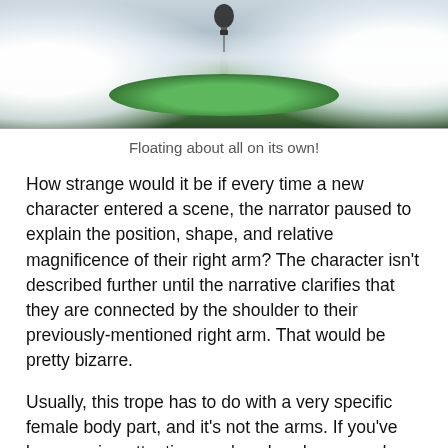[Figure (photo): A fantasy-style photo of a floating green island or landmass surrounded by white clouds and mist, with a dark hot air balloon or object hanging above it.]
Floating about all on its own!
How strange would it be if every time a new character entered a scene, the narrator paused to explain the position, shape, and relative magnificence of their right arm? The character isn't described further until the narrative clarifies that they are connected by the shoulder to their previously-mentioned right arm. That would be pretty bizarre.
Usually, this trope has to do with a very specific female body part, and it's not the arms. If you've been paying attention, you've already guessed what